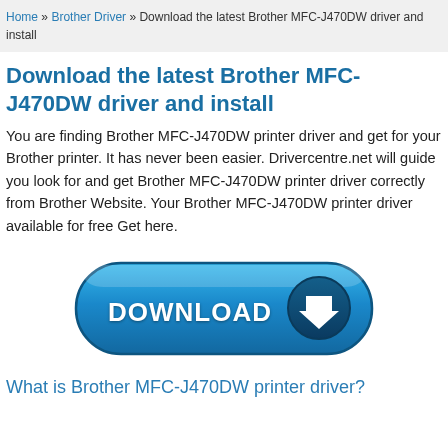Home » Brother Driver » Download the latest Brother MFC-J470DW driver and install
Download the latest Brother MFC-J470DW driver and install
You are finding Brother MFC-J470DW printer driver and get for your Brother printer. It has never been easier. Drivercentre.net will guide you look for and get Brother MFC-J470DW printer driver correctly from Brother Website. Your Brother MFC-J470DW printer driver available for free Get here.
[Figure (other): A large blue rounded rectangle download button with 'DOWNLOAD' text in white bold letters and a white downward arrow icon in a dark circle on the right side]
What is Brother MFC-J470DW printer driver?